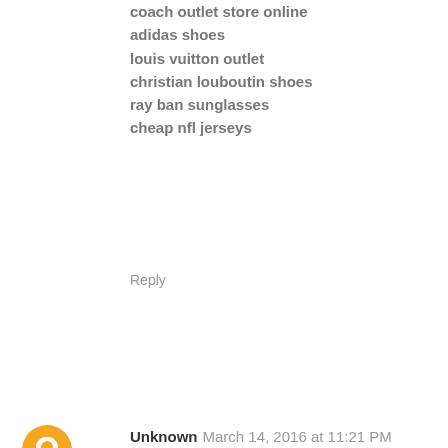coach outlet store online
adidas shoes
louis vuitton outlet
christian louboutin shoes
ray ban sunglasses
cheap nfl jerseys
Reply
Unknown  March 14, 2016 at 11:21 PM
mbt shoes
air jordan 13
prada handbags
swarovski outlet
michael kors outlet online
adidas wings shoes
nike air max uk
christian louboutin outlet
nfl jerseys
soccer jerseys
longchamp handbags outlet
hermes outlet